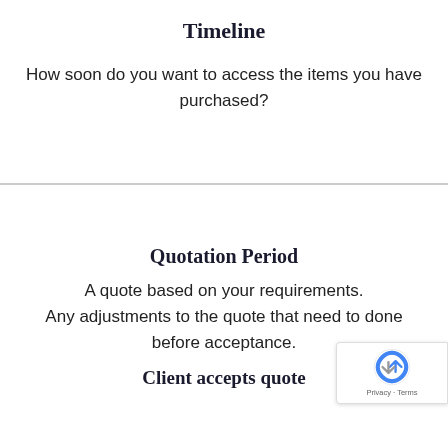Timeline
How soon do you want to access the items you have purchased?
Quotation Period
A quote based on your requirements. Any adjustments to the quote that need to done before acceptance.
Client accepts quote